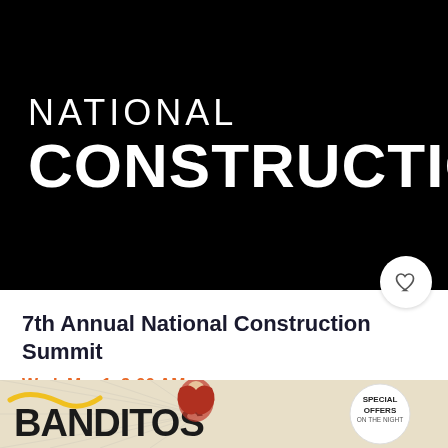[Figure (logo): Black background with 'NATIONAL CONSTRUCTION' text in white — National Construction Summit event logo]
7th Annual National Construction Summit
Wed, Mar 1, 9:00 AM
Sport Ireland: National Indoor Arena • Dublin
Free
[Figure (illustration): Banditos banner with illustrated red-haired woman and 'Special Offers on the Night' badge]